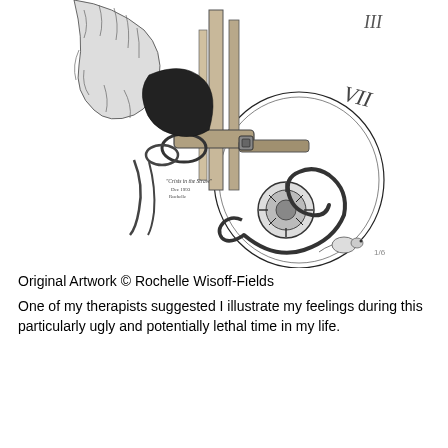[Figure (illustration): Black and white pen-and-ink illustration showing a surreal scene with an animal (possibly a lion or bear) entangled with clock faces, wheels, gears, and a coiled snake. Small text in the lower left of the illustration reads 'Crisis in the Straw, Dec 1993, Rochelle'. The style is detailed crosshatching.]
Original Artwork © Rochelle Wisoff-Fields
One of my therapists suggested I illustrate my feelings during this particularly ugly and potentially lethal time in my life.